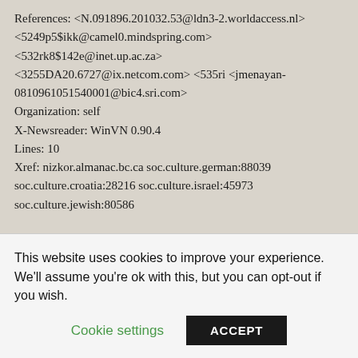References: <N.091896.201032.53@ldn3-2.worldaccess.nl> <5249p5$ikk@camel0.mindspring.com> <532rk8$142e@inet.up.ac.za> <3255DA20.6727@ix.netcom.com> <535ri <jmenayan-0810961051540001@bic4.sri.com> Organization: self X-Newsreader: WinVN 0.90.4 Lines: 10 Xref: nizkor.almanac.bc.ca soc.culture.german:88039 soc.culture.croatia:28216 soc.culture.israel:45973 soc.culture.jewish:80586
In article <jmenayan-0810961051540001@bic4.sri.com>,
This website uses cookies to improve your experience. We'll assume you're ok with this, but you can opt-out if you wish.
Cookie settings | ACCEPT